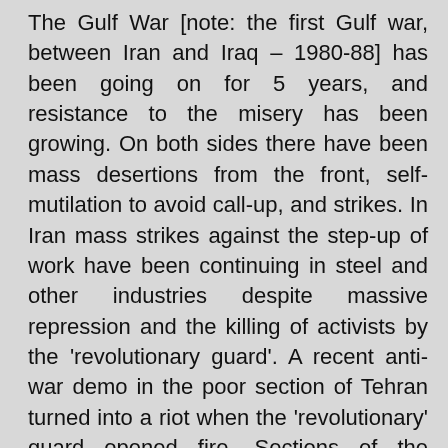The Gulf War [note: the first Gulf war, between Iran and Iraq – 1980-88] has been going on for 5 years, and resistance to the misery has been growing. On both sides there have been mass desertions from the front, self-mutilation to avoid call-up, and strikes. In Iran mass strikes against the step-up of work have been continuing in steel and other industries despite massive repression and the killing of activists by the 'revolutionary guard'. A recent anti-war demo in the poor section of Tehran turned into a riot when the 'revolutionary' guard opened fire. Sections of the working class remember the power they held in their hands during the revolution against the Shah, but Khomeini retains control of the country by using the bogeymen of Israel, the US and the Shah, and through the myth of the nation's 'Holy Destiny'. A revolutionary defeat of the Gulf War would start tremors throughout the Arab world that the